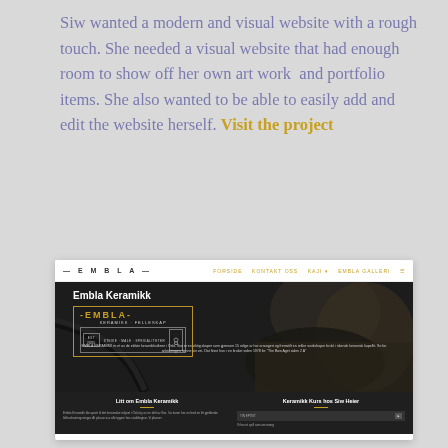Siw wanted a modern and visual website with a rough touch. She needed a visual website that had enough room to show off her own art work  and portfolio items. She also wanted to be able to easily add and edit the website herself. Visit the project
[Figure (screenshot): Screenshot of the Embla Keramikk website showing a dark-themed pottery/ceramics site with navigation bar, hero section with 'Embla Keramikk' title and logo box, and bottom section with 'Litt om Embla Keramikk' and 'Keramikk Kurs hos Siw Heier' columns]